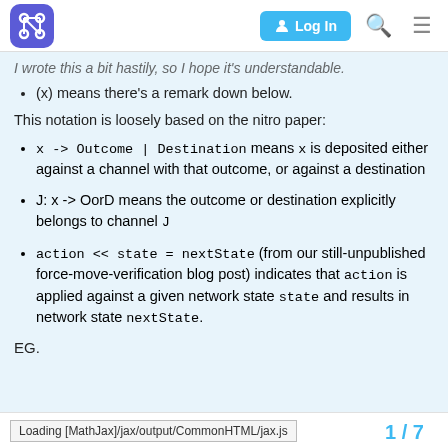Log In [navigation header with logo, search, menu]
I wrote this a bit hastily, so I hope it's understandable.
(x) means there's a remark down below.
This notation is loosely based on the nitro paper:
x -> Outcome | Destination means x is deposited either against a channel with that outcome, or against a destination
J: x -> OorD means the outcome or destination explicitly belongs to channel J
action << state = nextState (from our still-unpublished force-move-verification blog post) indicates that action is applied against a given network state state and results in network state nextState.
EG.
Loading [MathJax]/jax/output/CommonHTML/jax.js   1 / 7